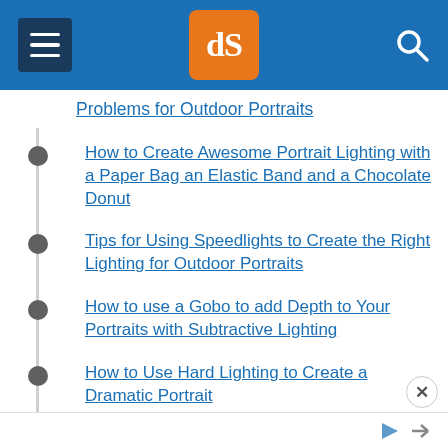dPS (digital Photography School)
Problems for Outdoor Portraits
How to Create Awesome Portrait Lighting with a Paper Bag an Elastic Band and a Chocolate Donut
Tips for Using Speedlights to Create the Right Lighting for Outdoor Portraits
How to use a Gobo to add Depth to Your Portraits with Subtractive Lighting
How to Use Hard Lighting to Create a Dramatic Portrait
Portrait Comparison – Flash Versus Natural
Advertisement